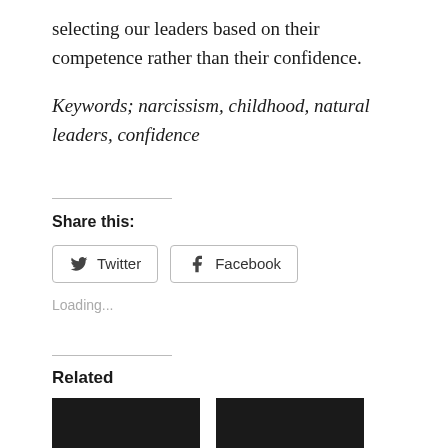selecting our leaders based on their competence rather than their confidence.
Keywords; narcissism, childhood, natural leaders, confidence
Share this:
Twitter  Facebook
Loading...
Related
[Figure (photo): Two related article thumbnail images, dark/black background photos side by side]